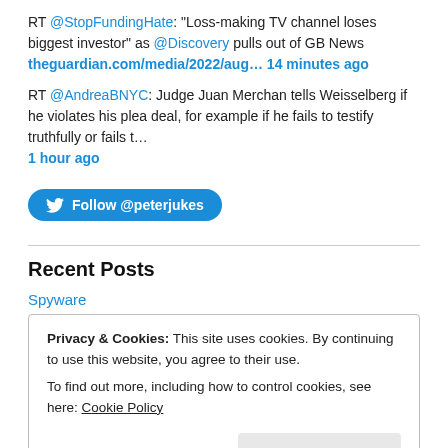RT @StopFundingHate: "Loss-making TV channel loses biggest investor" as @Discovery pulls out of GB News theguardian.com/media/2022/aug... 14 minutes ago
RT @AndreaBNYC: Judge Juan Merchan tells Weisselberg if he violates his plea deal, for example if he fails to testify truthfully or fails t... 1 hour ago
Follow @peterjukes
Recent Posts
Spyware
Privacy & Cookies: This site uses cookies. By continuing to use this website, you agree to their use. To find out more, including how to control cookies, see here: Cookie Policy
Close and accept
3. 2 Anatomy of a Coverup